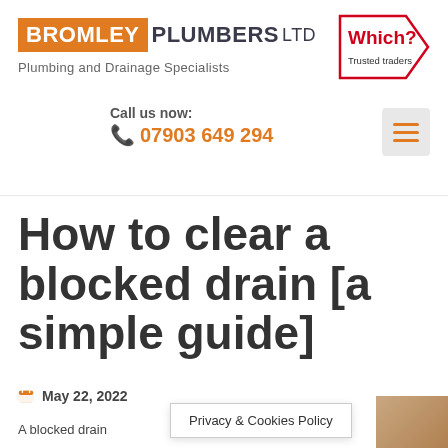[Figure (logo): Bromley Plumbers LTD logo with orange background for BROMLEY and dark text for PLUMBERS LTD]
Plumbing and Drainage Specialists
[Figure (logo): Which? Trusted traders badge in red and black with pentagon/arrow shape]
Call us now:
07903 649 294
[Figure (other): Hamburger menu icon with three orange lines on grey background]
How to clear a blocked drain [a simple guide]
May 22, 2022
A blocked drain
Privacy & Cookies Policy